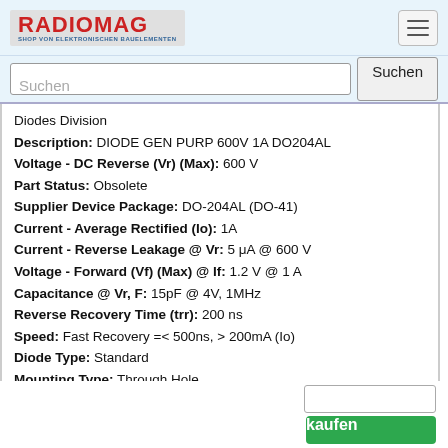RADIOMAG - SHOP VON ELEKTRONISCHEN BAUELEMENTEN
Suchen
Diodes Division
Description: DIODE GEN PURP 600V 1A DO204AL
Voltage - DC Reverse (Vr) (Max): 600 V
Part Status: Obsolete
Supplier Device Package: DO-204AL (DO-41)
Current - Average Rectified (Io): 1A
Current - Reverse Leakage @ Vr: 5 μA @ 600 V
Voltage - Forward (Vf) (Max) @ If: 1.2 V @ 1 A
Capacitance @ Vr, F: 15pF @ 4V, 1MHz
Reverse Recovery Time (trr): 200 ns
Speed: Fast Recovery =< 500ns, > 200mA (Io)
Diode Type: Standard
Mounting Type: Through Hole
Package / Case: DO-204AL, DO-41, Axial
Packaging: Tape & Box (TB)
Operating Temperature - Junction: -65°C ~ 175°C
Produkt ist nicht verfügbar, Sie können Anfrage senden wenn Sie Produkt in den Warenkorb hinzufügen